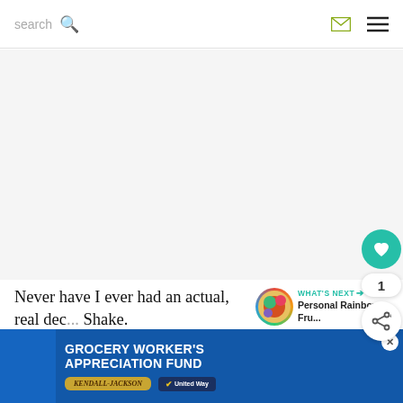search
[Figure (photo): Large light gray image placeholder area]
Never have I ever had an actual, real dec... Shake.
[Figure (illustration): WHAT'S NEXT arrow label with thumbnail of Personal Rainbow Fru...]
Th... that shall no... "real"...
[Figure (other): Grocery Worker's Appreciation Fund advertisement banner with Kendall-Jackson and United Way logos]